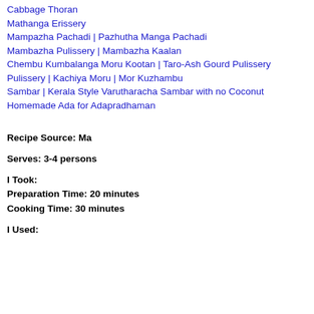Cabbage Thoran
Mathanga Erissery
Mampazha Pachadi | Pazhutha Manga Pachadi
Mambazha Pulissery | Mambazha Kaalan
Chembu Kumbalanga Moru Kootan | Taro-Ash Gourd Pulissery
Pulissery | Kachiya Moru | Mor Kuzhambu
Sambar | Kerala Style Varutharacha Sambar with no Coconut
Homemade Ada for Adapradhaman
Recipe Source: Ma
Serves: 3-4 persons
I Took:
Preparation Time: 20 minutes
Cooking Time: 30 minutes
I Used: